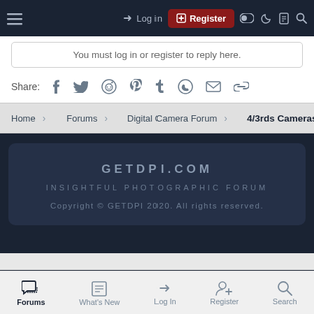Log in | Register | GETDPI.COM forum navigation bar
You must log in or register to reply here.
Share: [Facebook] [Twitter] [Reddit] [Pinterest] [Tumblr] [WhatsApp] [Email] [Link]
Home > Forums > Digital Camera Forum > 4/3rds Cameras
GETDPI.COM
INSIGHTFUL PHOTOGRAPHIC FORUM
Copyright © GETDPI 2020. All rights reserved.
Forums | What's New | Log In | Register | Search